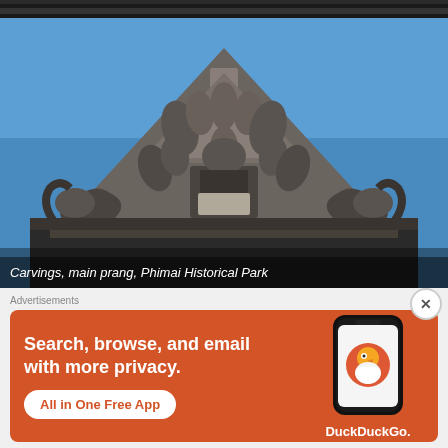[Figure (photo): Top strip showing top portion of another photo, dark foliage or decorative structure against sky]
[Figure (photo): Ancient Khmer stone carvings at the main prang of Phimai Historical Park, Thailand. Intricate stone relief sculptures with mythological figures and serpents against a bright blue sky.]
Carvings, main prang, Phimai Historical Park
Advertisements
[Figure (infographic): DuckDuckGo advertisement banner with orange background. Left side reads: Search, browse, and email with more privacy. All in One Free App. Right side shows a smartphone with DuckDuckGo logo and branding.]